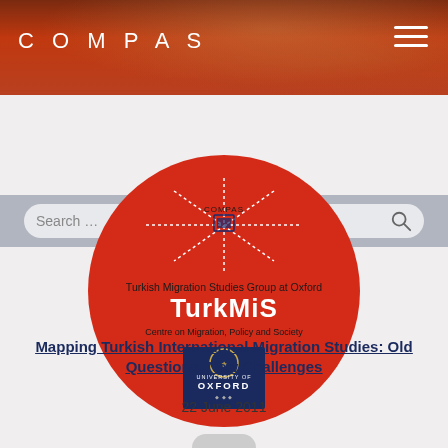COMPAS
[Figure (screenshot): COMPAS website header with banner photo of hands and papers, COMPAS logo top left, hamburger menu top right, and search bar below]
[Figure (logo): TurkMiS - Turkish Migration Studies Group at Oxford logo. Large red circle containing COMPAS star logo at top, text 'Turkish Migration Studies Group at Oxford', large white bold text 'TurkMiS', text 'Centre on Migration, Policy and Society', and University of Oxford shield logo in navy blue box]
Mapping Turkish International Migration Studies: Old Questions, New Challenges
22 June 2011